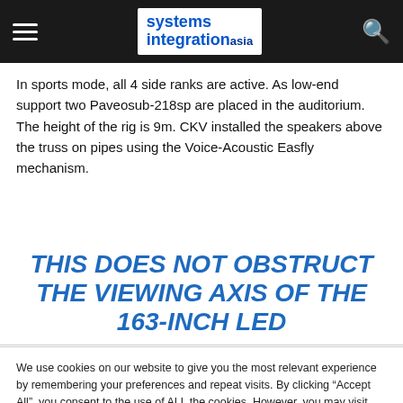systems integration asia
In sports mode, all 4 side ranks are active. As low-end support two Paveosub-218sp are placed in the auditorium. The height of the rig is 9m. CKV installed the speakers above the truss on pipes using the Voice-Acoustic Easfly mechanism.
THIS DOES NOT OBSTRUCT THE VIEWING AXIS OF THE 163-INCH LED
We use cookies on our website to give you the most relevant experience by remembering your preferences and repeat visits. By clicking "Accept All", you consent to the use of ALL the cookies. However, you may visit "Cookie Settings" to provide a controlled consent.